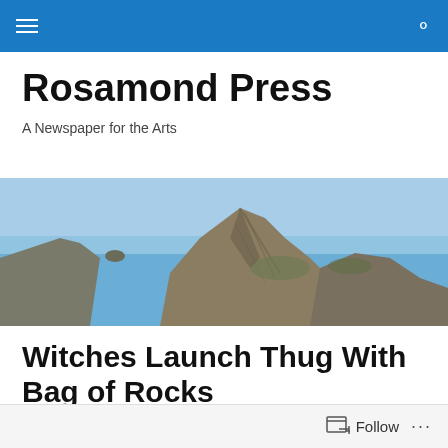Navigation bar with menu and search icons
Rosamond Press
A Newspaper for the Arts
[Figure (photo): Coastal landscape with rocky cliffs and blue ocean water under a clear sky]
Witches Launch Thug With Bag of Rocks
[Figure (photo): Partially visible interior photo with warm wooden tones]
Follow